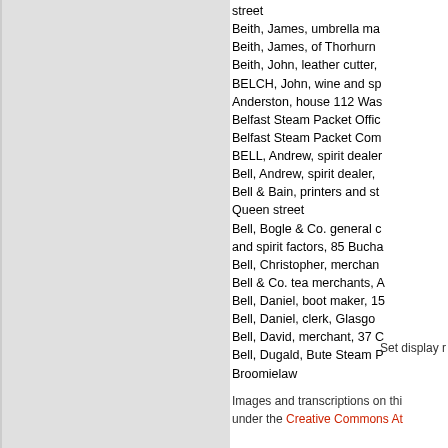street
Beith, James, umbrella ma...
Beith, James, of Thorhurn...
Beith, John, leather cutter,...
BELCH, John, wine and sp...
Anderston, house 112 Was...
Belfast Steam Packet Offic...
Belfast Steam Packet Com...
BELL, Andrew, spirit dealer...
Bell, Andrew, spirit dealer,...
Bell & Bain, printers and st...
Queen street
Bell, Bogle & Co. general c...
and spirit factors, 85 Bucha...
Bell, Christopher, merchan...
Bell & Co. tea merchants, A...
Bell, Daniel, boot maker, 15...
Bell, Daniel, clerk, Glasgo...
Bell, David, merchant, 37 C...
Bell, Dugald, Bute Steam P...
Broomielaw
Set display...
Images and transcriptions on thi... under the Creative Commons At...